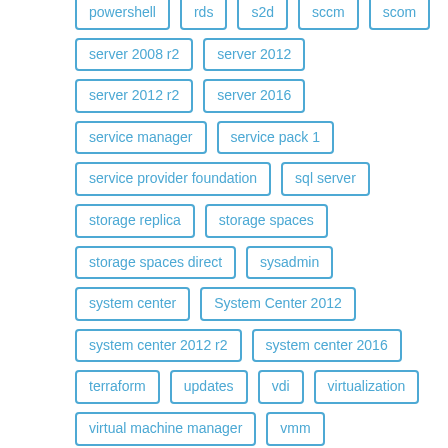powershell
rds
s2d
sccm
scom
server 2008 r2
server 2012
server 2012 r2
server 2016
service manager
service pack 1
service provider foundation
sql server
storage replica
storage spaces
storage spaces direct
sysadmin
system center
System Center 2012
system center 2012 r2
system center 2016
terraform
updates
vdi
virtualization
virtual machine manager
vmm